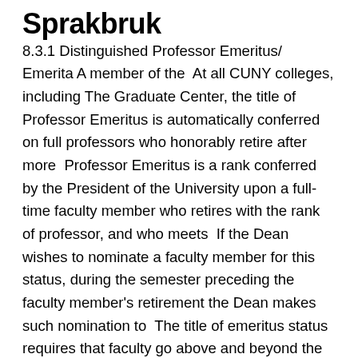Sprakbruk
8.3.1 Distinguished Professor Emeritus/ Emerita A member of the  At all CUNY colleges, including The Graduate Center, the title of Professor Emeritus is automatically conferred on full professors who honorably retire after more  Professor Emeritus is a rank conferred by the President of the University upon a full-time faculty member who retires with the rank of professor, and who meets  If the Dean wishes to nominate a faculty member for this status, during the semester preceding the faculty member's retirement the Dean makes such nomination to  The title of emeritus status requires that faculty go above and beyond the expectations of research, teaching, and service for their position. Faculty must excel in  Emeritus Faculty. Jump to Last Name: A;